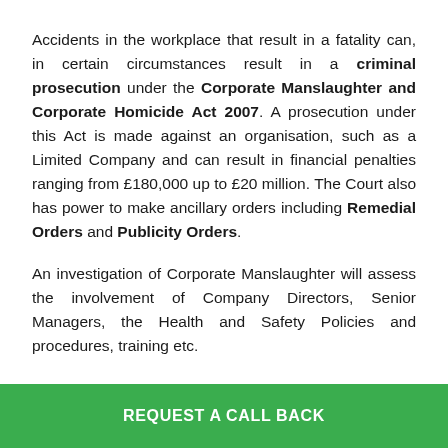Accidents in the workplace that result in a fatality can, in certain circumstances result in a criminal prosecution under the Corporate Manslaughter and Corporate Homicide Act 2007. A prosecution under this Act is made against an organisation, such as a Limited Company and can result in financial penalties ranging from £180,000 up to £20 million. The Court also has power to make ancillary orders including Remedial Orders and Publicity Orders.

An investigation of Corporate Manslaughter will assess the involvement of Company Directors, Senior Managers, the Health and Safety Policies and procedures, training etc.
REQUEST A CALL BACK